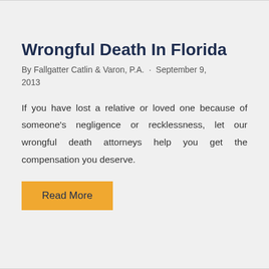Wrongful Death In Florida
By Fallgatter Catlin & Varon, P.A. · September 9, 2013
If you have lost a relative or loved one because of someone's negligence or recklessness, let our wrongful death attorneys help you get the compensation you deserve.
Read More